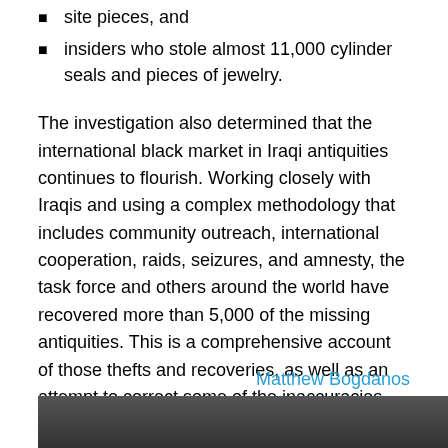site pieces, and
insiders who stole almost 11,000 cylinder seals and pieces of jewelry.
The investigation also determined that the international black market in Iraqi antiquities continues to flourish. Working closely with Iraqis and using a complex methodology that includes community outreach, international cooperation, raids, seizures, and amnesty, the task force and others around the world have recovered more than 5,000 of the missing antiquities. This is a comprehensive account of those thefts and recoveries, as well as an attempt to correct some of the inaccuracies and misunderstandings that have been commonly reported in the media.
Matthew Bogdanos
[Figure (photo): Partial photo strip visible at bottom of page]